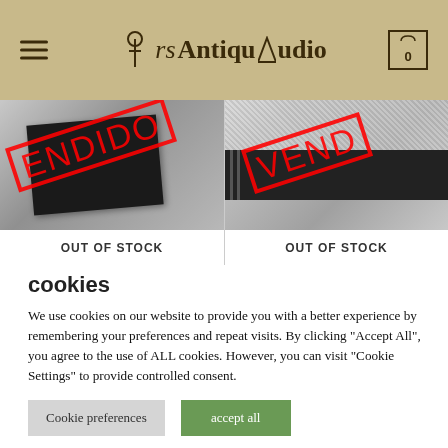ArsAntiquAudio — navigation header with hamburger menu, logo, and cart icon
[Figure (photo): Two product photos side by side, each with a red VENDIDO stamp overlay. Left: black electronic component on grey background. Right: dark component on granite-like surface. Both labeled OUT OF STOCK.]
cookies
We use cookies on our website to provide you with a better experience by remembering your preferences and repeat visits. By clicking "Accept All", you agree to the use of ALL cookies. However, you can visit "Cookie Settings" to provide controlled consent.
Cookie preferences | accept all